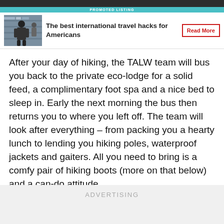[Figure (screenshot): Promoted listing advertisement banner showing airport/travel scene image on the left, bold text 'The best international travel hacks for Americans' in the center, and a 'Read More' button with red border on the right. A teal bar at the top reads 'PROMOTED LISTING'.]
After your day of hiking, the TALW team will bus you back to the private eco-lodge for a solid feed, a complimentary foot spa and a nice bed to sleep in. Early the next morning the bus then returns you to where you left off. The team will look after everything – from packing you a hearty lunch to lending you hiking poles, waterproof jackets and gaiters. All you need to bring is a comfy pair of hiking boots (more on that below) and a can-do attitude.
ADVERTISING